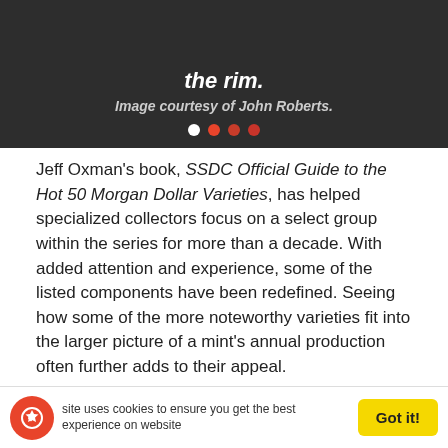[Figure (screenshot): Dark banner with italic text reading 'the rim.' and caption 'Image courtesy of John Roberts.' followed by carousel dots (white, red, red, red)]
Jeff Oxman's book, SSDC Official Guide to the Hot 50 Morgan Dollar Varieties, has helped specialized collectors focus on a select group within the series for more than a decade. With added attention and experience, some of the listed components have been redefined. Seeing how some of the more noteworthy varieties fit into the larger picture of a mint's annual production often further adds to their appeal.
In 1998, one of the true pioneers of Morgan dollar variety research, Terry Armstrong, first reported an 1888-S Morgan dollar with a strongly pitted reverse. It was originally designated as VAM-1B in the first annual installment of New VAM Varieties of Morgan & Peace
site uses cookies to ensure you get the best experience on website
Got it!